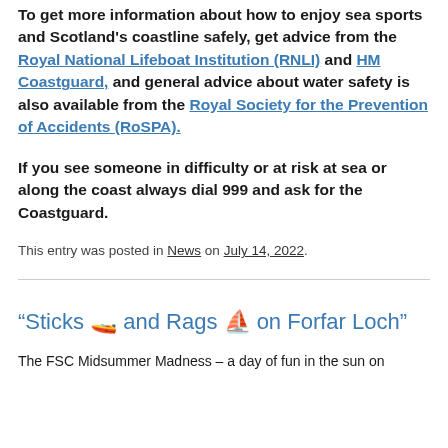To get more information about how to enjoy sea sports and Scotland's coastline safely, get advice from the Royal National Lifeboat Institution (RNLI) and HM Coastguard, and general advice about water safety is also available from the Royal Society for the Prevention of Accidents (RoSPA).
If you see someone in difficulty or at risk at sea or along the coast always dial 999 and ask for the Coastguard.
This entry was posted in News on July 14, 2022.
“Sticks ⛵ and Rags ⛵ on Forfar Loch”
The FSC Midsummer Madness – a day of fun in the sun on